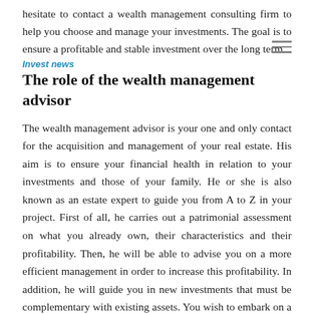hesitate to contact a wealth management consulting firm to help you choose and manage your investments. The goal is to ensure a profitable and stable investment over the long term.
Invest news
The role of the wealth management advisor
The wealth management advisor is your one and only contact for the acquisition and management of your real estate. His aim is to ensure your financial health in relation to your investments and those of your family. He or she is also known as an estate expert to guide you from A to Z in your project. First of all, he carries out a patrimonial assessment on what you already own, their characteristics and their profitability. Then, he will be able to advise you on a more efficient management in order to increase this profitability. In addition, he will guide you in new investments that must be complementary with existing assets. You wish to embark on a new investment project?